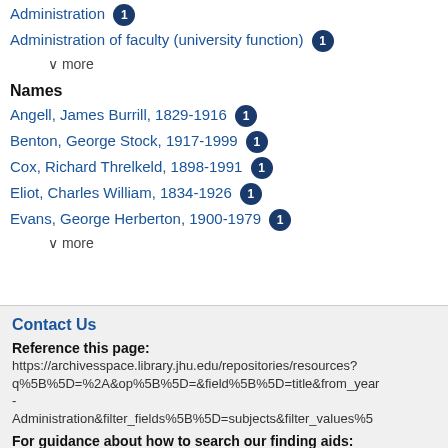Administration 1
Administration of faculty (university function) 1
∨ more
Names
Angell, James Burrill, 1829-1916 1
Benton, George Stock, 1917-1999 1
Cox, Richard Threlkeld, 1898-1991 1
Eliot, Charles William, 1834-1926 1
Evans, George Herberton, 1900-1979 1
∨ more
Contact Us
Reference this page:
https://archivesspace.library.jhu.edu/repositories/resources?q%5B%5D=%2A&op%5B%5D=&field%5B%5D=title&from_year- Administration&filter_fields%5B%5D=subjects&filter_values%5B
For guidance about how to search our finding aids:
https://guides.library.jhu.edu/c.php?g=994933